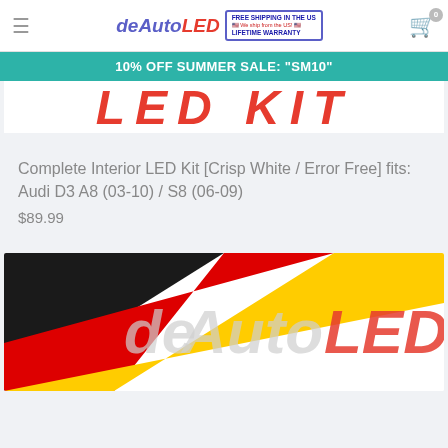[Figure (logo): deAutoLED logo with FREE SHIPPING IN THE US and LIFETIME WARRANTY badge]
10% OFF SUMMER SALE: "SM10"
[Figure (photo): Partial product image showing red italic text: LED KIT]
Complete Interior LED Kit [Crisp White / Error Free] fits: Audi D3 A8 (03-10) / S8 (06-09)
$89.99
[Figure (logo): deAutoLED logo on white background with German flag diagonal stripe in corner]